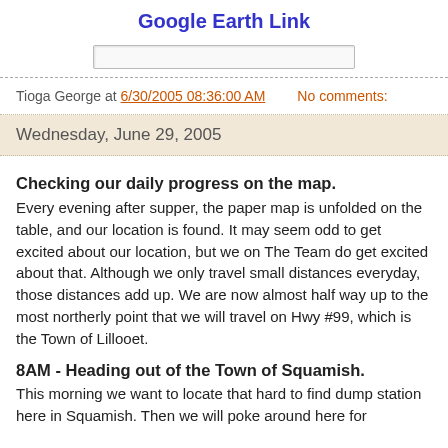Google Earth Link
[Figure (other): A text input box (search/link input field)]
Tioga George at 6/30/2005 08:36:00 AM    No comments:
Wednesday, June 29, 2005
Checking our daily progress on the map. Every evening after supper, the paper map is unfolded on the table, and our location is found. It may seem odd to get excited about our location, but we on The Team do get excited about that. Although we only travel small distances everyday, those distances add up. We are now almost half way up to the most northerly point that we will travel on Hwy #99, which is the Town of Lillooet.
8AM - Heading out of the Town of Squamish. This morning we want to locate that hard to find dump station here in Squamish. Then we will poke around here for